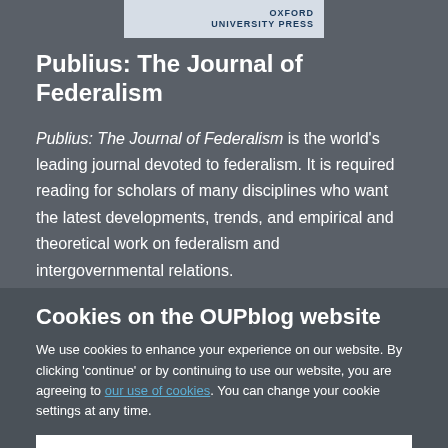[Figure (logo): Oxford University Press logo banner at top center]
Publius: The Journal of Federalism
Publius: The Journal of Federalism is the world's leading journal devoted to federalism. It is required reading for scholars of many disciplines who want the latest developments, trends, and empirical and theoretical work on federalism and intergovernmental relations.
Cookies on the OUPblog website
We use cookies to enhance your experience on our website. By clicking 'continue' or by continuing to use our website, you are agreeing to our use of cookies. You can change your cookie settings at any time.
Continue